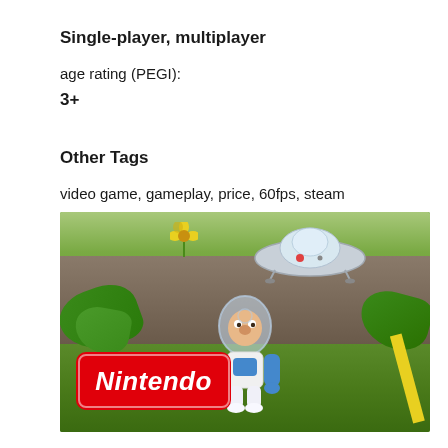Single-player, multiplayer
age rating (PEGI):
3+
Other Tags
video game, gameplay, price, 60fps, steam
[Figure (photo): Screenshot from a Nintendo video game (Pikmin) showing a small astronaut character in a spacesuit standing on grass, with a flying saucer spaceship visible in the background among plants and flowers. A Nintendo logo overlay appears in the bottom-left corner.]